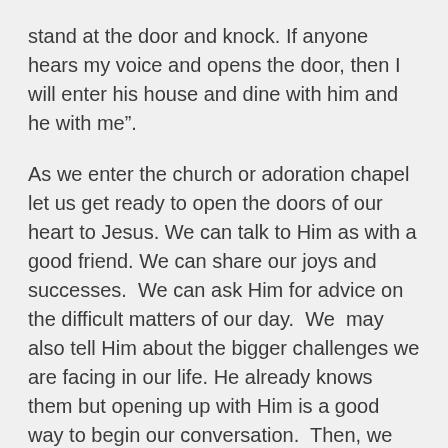stand at the door and knock. If anyone hears my voice and opens the door, then I will enter his house and dine with him and he with me".
As we enter the church or adoration chapel let us get ready to open the doors of our heart to Jesus. We can talk to Him as with a good friend. We can share our joys and successes.  We can ask Him for advice on the difficult matters of our day.  We  may also tell Him about the bigger challenges we are facing in our life. He already knows them but opening up with Him is a good way to begin our conversation.  Then, we should listen deeply in our heart for what He wants to tell us.
If you are not used to spending time with the Lord in adoration, reading your Bible or praying a Rosary are